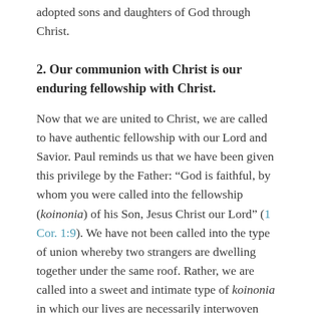adopted sons and daughters of God through Christ.
2. Our communion with Christ is our enduring fellowship with Christ.
Now that we are united to Christ, we are called to have authentic fellowship with our Lord and Savior. Paul reminds us that we have been given this privilege by the Father: “God is faithful, by whom you were called into the fellowship (koinonia) of his Son, Jesus Christ our Lord” (1 Cor. 1:9). We have not been called into the type of union whereby two strangers are dwelling together under the same roof. Rather, we are called into a sweet and intimate type of koinonia in which our lives are necessarily interwoven